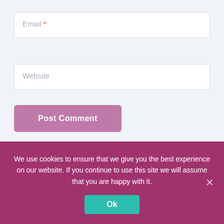[Figure (screenshot): Email input field with placeholder text 'Email *' (asterisk in red/orange) on a light blue-grey background]
[Figure (screenshot): Website input field with placeholder text 'Website' on a light blue-grey background]
[Figure (screenshot): Pink/mauve 'Post Comment' button]
Search
[Figure (screenshot): Search input box with a 'Search' button to the right]
We use cookies to ensure that we give you the best experience on our website. If you continue to use this site we will assume that you are happy with it.
[Figure (screenshot): Teal/green 'Ok' button in cookie consent banner]